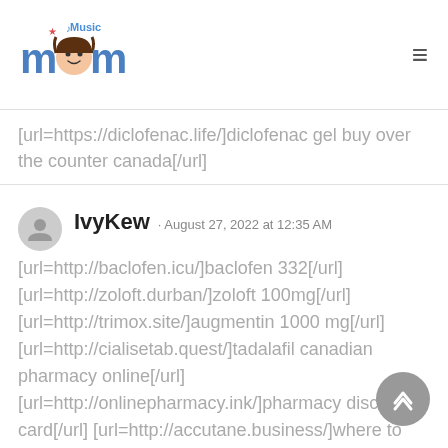Music Mom
[url=https://diclofenac.life/]diclofenac gel buy over the counter canada[/url]
IvyKew · August 27, 2022 at 12:35 AM
[url=http://baclofen.icu/]baclofen 332[/url] [url=http://zoloft.durban/]zoloft 100mg[/url] [url=http://trimox.site/]augmentin 1000 mg[/url] [url=http://cialisetab.quest/]tadalafil canadian pharmacy online[/url] [url=http://onlinepharmacy.ink/]pharmacy discount card[/url] [url=http://accutane.business/]where to get accutane in south africa[/url]